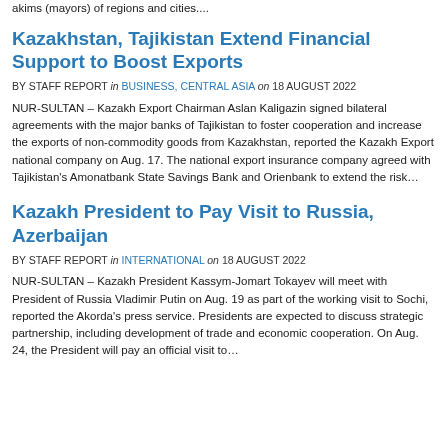akims (mayors) of regions and cities....
Kazakhstan, Tajikistan Extend Financial Support to Boost Exports
BY STAFF REPORT in BUSINESS, CENTRAL ASIA on 18 AUGUST 2022
NUR-SULTAN – Kazakh Export Chairman Aslan Kaligazin signed bilateral agreements with the major banks of Tajikistan to foster cooperation and increase the exports of non-commodity goods from Kazakhstan, reported the Kazakh Export national company on Aug. 17. The national export insurance company agreed with Tajikistan's Amonatbank State Savings Bank and Orienbank to extend the risk...
Kazakh President to Pay Visit to Russia, Azerbaijan
BY STAFF REPORT in INTERNATIONAL on 18 AUGUST 2022
NUR-SULTAN – Kazakh President Kassym-Jomart Tokayev will meet with President of Russia Vladimir Putin on Aug. 19 as part of the working visit to Sochi, reported the Akorda's press service. Presidents are expected to discuss strategic partnership, including development of trade and economic cooperation. On Aug. 24, the President will pay an official visit to...